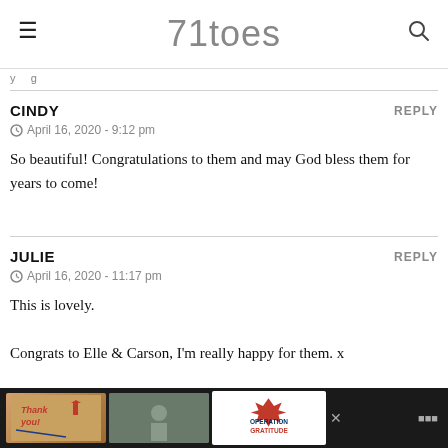71toes
y g
CINDY
April 16, 2020 - 9:12 pm

So beautiful! Congratulations to them and may God bless them for years to come!
JULIE
April 16, 2020 - 11:17 pm

This is lovely.

Congrats to Elle & Carson, I'm really happy for them. x
[Figure (screenshot): Advertisement banner at bottom: Operation Gratitude ad with thank you image and military personnel]